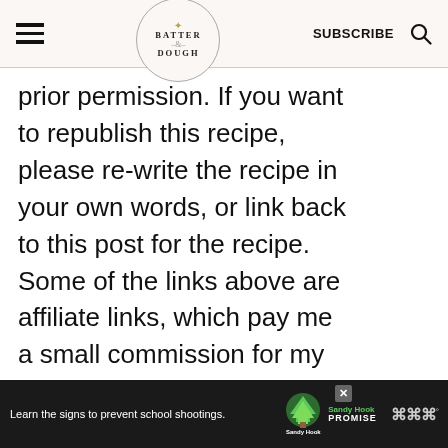BATTER & DOUGH | SUBSCRIBE
prior permission. If you want to republish this recipe, please re-write the recipe in your own words, or link back to this post for the recipe. Some of the links above are affiliate links, which pay me a small commission for my referral at no extra cost to you! Thank you for supporting Of Batter and Dough.
[Figure (screenshot): Ad banner at bottom: 'Learn the signs to prevent school shootings.' with Sandy Hook Promise logo and tree graphic on dark background]